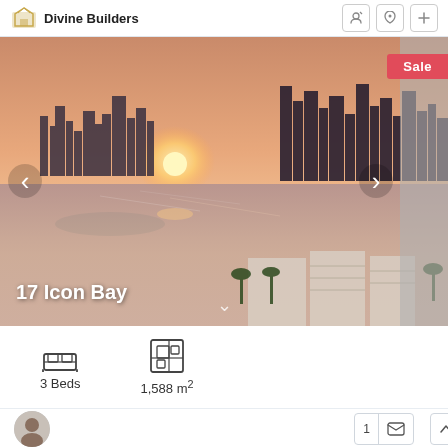Divine Builders
[Figure (photo): Aerial sunset photo of Dubai skyline with waterfront buildings and 'Sale' badge overlay. Property name '17 Icon Bay' displayed in bottom-left corner.]
3 Beds   1,588 m²
Agent contact area with avatar, phone and message icon